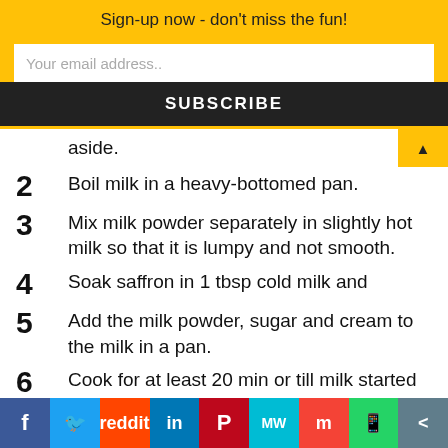Sign-up now - don't miss the fun!
Your email address..
SUBSCRIBE
aside.
2  Boil milk in a heavy-bottomed pan.
3  Mix milk powder separately in slightly hot milk so that it is lumpy and not smooth.
4  Soak saffron in 1 tbsp cold milk and
5  Add the milk powder, sugar and cream to the milk in a pan.
6  Cook for at least 20 min or till milk started